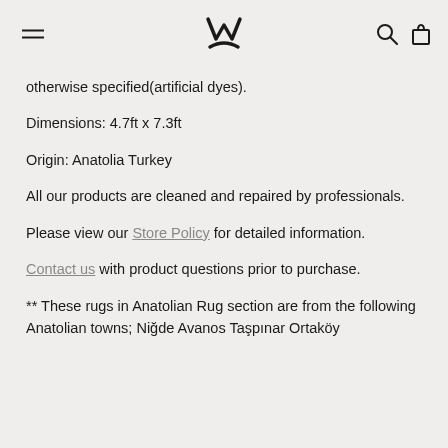[Logo] [Hamburger menu] [Search icon] [Cart icon]
otherwise specified(artificial dyes).
Dimensions: 4.7ft x 7.3ft
Origin: Anatolia Turkey
All our products are cleaned and repaired by professionals.
Please view our Store Policy for detailed information.
Contact us with product questions prior to purchase.
** These rugs in Anatolian Rug section are from the following Anatolian towns; Niğde Avanos Taşpınar Ortaköy